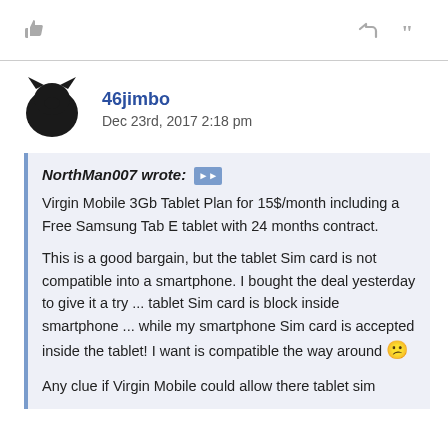[Figure (other): Thumbs up like icon (gray)]
[Figure (other): Reply arrow icon (gray) and quote marks icon (gray)]
46jimbo
Dec 23rd, 2017 2:18 pm
NorthMan007 wrote: [quote icon]
Virgin Mobile 3Gb Tablet Plan for 15$/month including a Free Samsung Tab E tablet with 24 months contract.

This is a good bargain, but the tablet Sim card is not compatible into a smartphone. I bought the deal yesterday to give it a try ... tablet Sim card is block inside smartphone ... while my smartphone Sim card is accepted inside the tablet! I want is compatible the way around 😕

Any clue if Virgin Mobile could allow there tablet sim